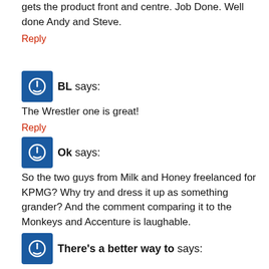gets the product front and centre. Job Done. Well done Andy and Steve.
Reply
BL says:
The Wrestler one is great!
Reply
Ok says:
So the two guys from Milk and Honey freelanced for KPMG? Why try and dress it up as something grander? And the comment comparing it to the Monkeys and Accenture is laughable.
Reply
There's a better way to says:
That said, top-notch production on these bad boys. Setting a new standard in Aus I reckon.